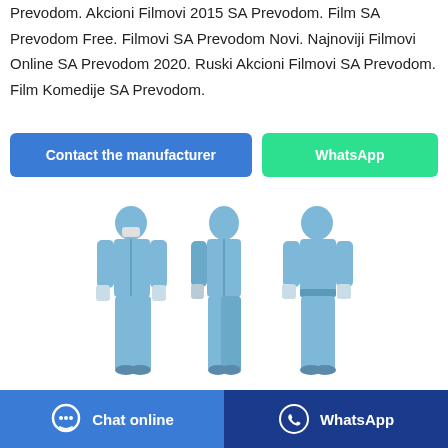Prevodom. Akcioni Filmovi 2015 SA Prevodom. Film SA Prevodom Free. Filmovi SA Prevodom Novi. Najnoviji Filmovi Online SA Prevodom 2020. Ruski Akcioni Filmovi SA Prevodom. Film Komedije SA Prevodom.
[Figure (other): Two buttons: 'Contact the manufacturer' (blue) and 'WhatsApp' (green)]
[Figure (photo): Three views of a person wearing a blue protective coverall suit with hood: front view with mask, side view, and back view]
[Figure (other): Bottom footer bar with two sections: 'Chat online' (blue with chat bubble icon) and 'WhatsApp' (dark blue with WhatsApp icon)]